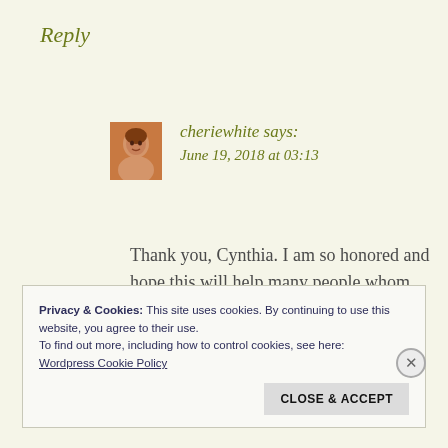Reply
cheriewhite says:
June 19, 2018 at 03:13
Thank you, Cynthia. I am so honored and hope this will help many people whom are oppressed and hurting.
Privacy & Cookies: This site uses cookies. By continuing to use this website, you agree to their use.
To find out more, including how to control cookies, see here:
Wordpress Cookie Policy
CLOSE & ACCEPT